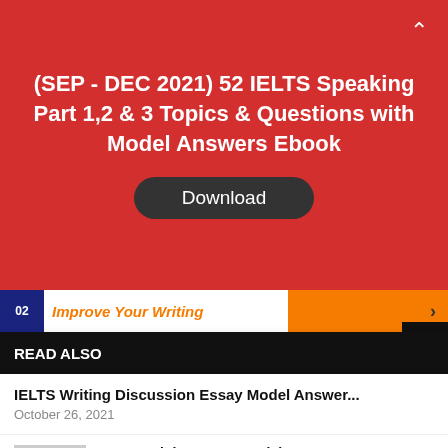(SEP - DEC 2021) 52 IELTS Speaking Part 1,2 & 3 Topics & Questions with Model Answers Ebook
Download
02 Improve Your Writing
READ ALSO
IELTS Writing Discussion Essay Model Answer...
October 26, 2021
IELTS Opinion Essay Model Answer 02...
October 13, 2021
Free Download
Search for
Download ebooks for Free
See It >